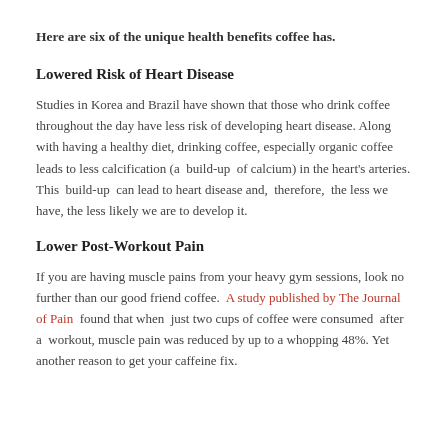Here are six of the unique health benefits coffee has.
Lowered Risk of Heart Disease
Studies in Korea and Brazil have shown that those who drink coffee throughout the day have less risk of developing heart disease. Along with having a healthy diet, drinking coffee, especially organic coffee leads to less calcification (a build-up of calcium) in the heart's arteries. This build-up can lead to heart disease and, therefore, the less we have, the less likely we are to develop it.
Lower Post-Workout Pain
If you are having muscle pains from your heavy gym sessions, look no further than our good friend coffee. A study published by The Journal of Pain found that when just two cups of coffee were consumed after a workout, muscle pain was reduced by up to a whopping 48%. Yet another reason to get your caffeine fix.